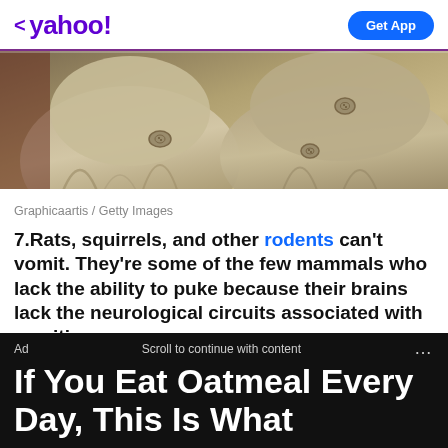< yahoo! | Get App
[Figure (photo): Close-up of worn burlap or cloth sacks/bags with rope or button-like fasteners, painted in a classical or realistic style. Muted beige/tan tones.]
Graphicaartis / Getty Images
7.Rats, squirrels, and other rodents can't vomit. They're some of the few mammals who lack the ability to puke because their brains lack the neurological circuits associated with vomiting.
Paramount / Via giphy.com
Ad   Scroll to continue with content   ...
If You Eat Oatmeal Every Day, This Is What